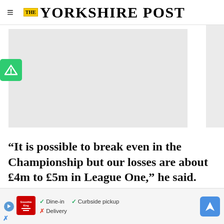THE YORKSHIRE POST
[Figure (other): Advertisement placeholder - gray rectangle]
[Figure (logo): Green icon with triangle/A symbol (Adblock or similar)]
“It is possible to break even in the Championship but our losses are about £4m to £5m in League One,” he said. “You want a clu
[Figure (other): Advertisement banner: Smoothie King ad with Dine-in, Curbside pickup, Delivery options and navigation icon]